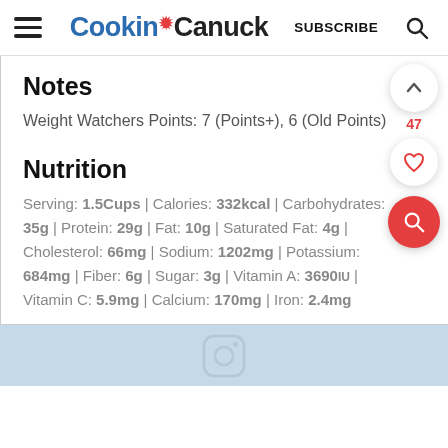Cookin Canuck | SUBSCRIBE
Notes
Weight Watchers Points: 7 (Points+), 6 (Old Points)
Nutrition
Serving: 1.5Cups | Calories: 332kcal | Carbohydrates: 35g | Protein: 29g | Fat: 10g | Saturated Fat: 4g | Cholesterol: 66mg | Sodium: 1202mg | Potassium: 684mg | Fiber: 6g | Sugar: 3g | Vitamin A: 3690IU | Vitamin C: 5.9mg | Calcium: 170mg | Iron: 2.4mg
[Figure (other): Instagram camera icon strip at the bottom]